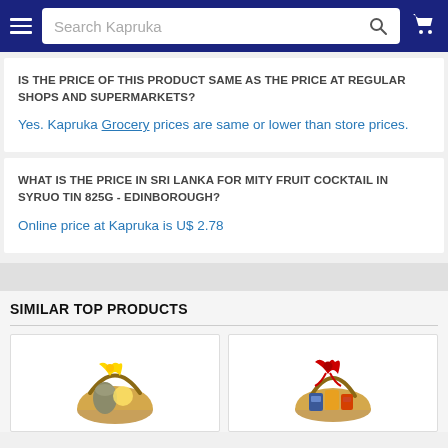[Figure (screenshot): Kapruka website header with hamburger menu, search bar labeled 'Search Kapruka', search icon, and cart icon on dark navy background]
IS THE PRICE OF THIS PRODUCT SAME AS THE PRICE AT REGULAR SHOPS AND SUPERMARKETS?
Yes. Kapruka Grocery prices are same or lower than store prices.
WHAT IS THE PRICE IN SRI LANKA FOR MITY FRUIT COCKTAIL IN SYRUO TIN 825G - EDINBOROUGH?
Online price at Kapruka is U$ 2.78
SIMILAR TOP PRODUCTS
[Figure (photo): Gift basket with golden bow and pine cone decoration]
[Figure (photo): Gift basket with red bow and assorted snacks/chocolates]